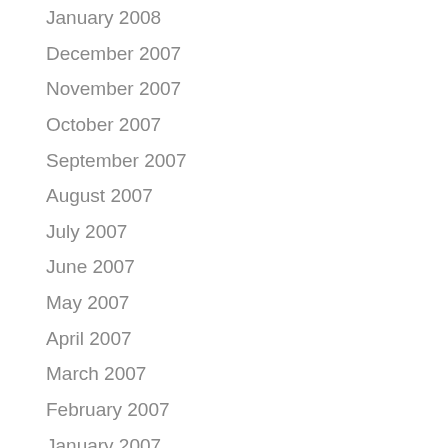January 2008
December 2007
November 2007
October 2007
September 2007
August 2007
July 2007
June 2007
May 2007
April 2007
March 2007
February 2007
January 2007
December 2006
November 2006